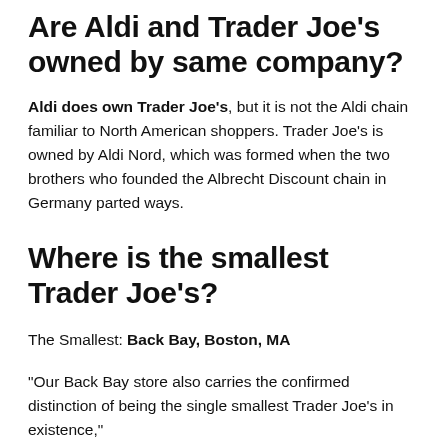Are Aldi and Trader Joe's owned by same company?
Aldi does own Trader Joe's, but it is not the Aldi chain familiar to North American shoppers. Trader Joe's is owned by Aldi Nord, which was formed when the two brothers who founded the Albrecht Discount chain in Germany parted ways.
Where is the smallest Trader Joe's?
The Smallest: Back Bay, Boston, MA
“Our Back Bay store also carries the confirmed distinction of being the single smallest Trader Joe’s in existence,”